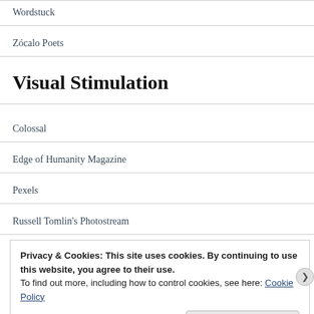Wordstuck
Zócalo Poets
Visual Stimulation
Colossal
Edge of Humanity Magazine
Pexels
Russell Tomlin's Photostream
Privacy & Cookies: This site uses cookies. By continuing to use this website, you agree to their use.
To find out more, including how to control cookies, see here: Cookie Policy
Close and accept